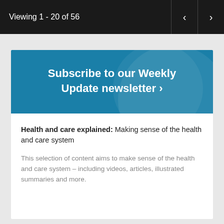Viewing 1 - 20 of 56
[Figure (screenshot): Subscribe to our Weekly Update newsletter > banner with teal/blue background]
Health and care explained: Making sense of the health and care system
This selection of content aims to make sense of the health and care system – including videos, articles, illustrated summaries and more.